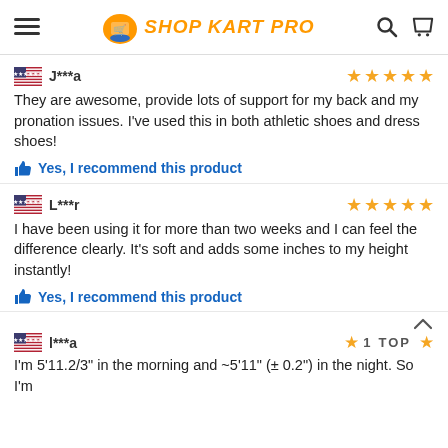SHOP KART PRO
J***a — 5 stars
They are awesome, provide lots of support for my back and my pronation issues. I've used this in both athletic shoes and dress shoes!
Yes, I recommend this product
L***r — 5 stars
I have been using it for more than two weeks and I can feel the difference clearly. It's soft and adds some inches to my height instantly!
Yes, I recommend this product
l***a — 1 star — TOP
I'm 5'11.2/3" in the morning and ~5'11" (± 0.2") in the night. So I'm...